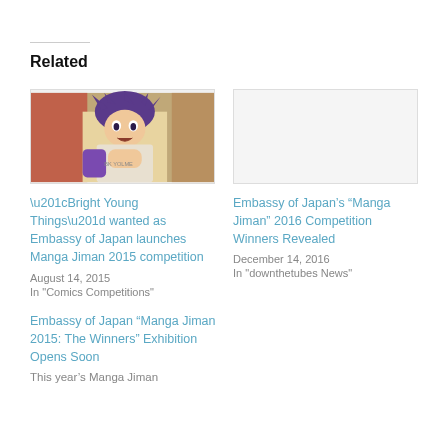Related
[Figure (illustration): Manga-style illustration of a character with purple hair holding something, wearing a white shirt, colorful background]
[Figure (other): Blank/empty light gray placeholder image]
“Bright Young Things” wanted as Embassy of Japan launches Manga Jiman 2015 competition
August 14, 2015
In "Comics Competitions"
Embassy of Japan’s “Manga Jiman” 2016 Competition Winners Revealed
December 14, 2016
In "downthetubes News"
Embassy of Japan “Manga Jiman 2015: The Winners” Exhibition Opens Soon
This year’s Manga Jiman